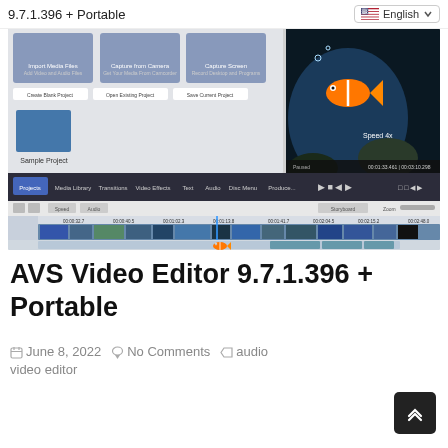9.7.1.396 + Portable   English
[Figure (screenshot): Screenshot of AVS Video Editor 9.7.1.396 interface showing the import/capture panel, a preview of an orange fish underwater video, timeline editor with multiple video clips, and toolbar with editing options.]
AVS Video Editor 9.7.1.396 + Portable
June 8, 2022   No Comments   audio video editor